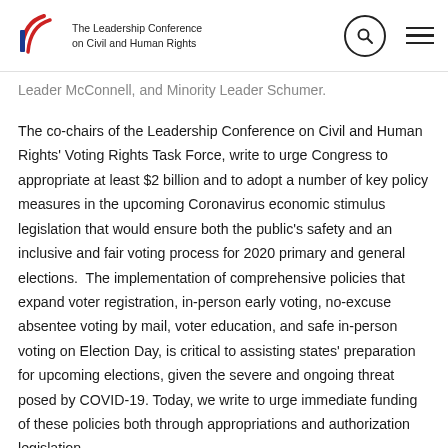The Leadership Conference on Civil and Human Rights [logo header with search and menu]
Leader McConnell, and Minority Leader Schumer.
The co-chairs of the Leadership Conference on Civil and Human Rights' Voting Rights Task Force, write to urge Congress to appropriate at least $2 billion and to adopt a number of key policy measures in the upcoming Coronavirus economic stimulus legislation that would ensure both the public's safety and an inclusive and fair voting process for 2020 primary and general elections.  The implementation of comprehensive policies that expand voter registration, in-person early voting, no-excuse absentee voting by mail, voter education, and safe in-person voting on Election Day, is critical to assisting states' preparation for upcoming elections, given the severe and ongoing threat posed by COVID-19. Today, we write to urge immediate funding of these policies both through appropriations and authorization legislation.
Congress must act now to provide funding and policy mandates so that all states and the District of Columbia are